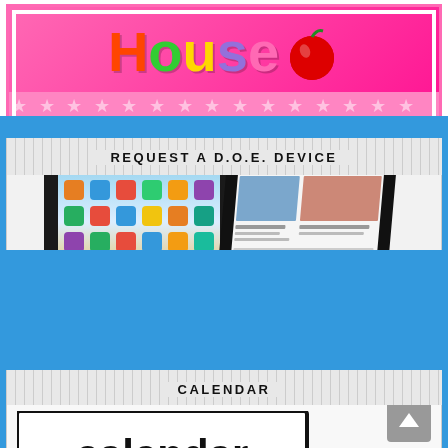[Figure (illustration): Colorful school house banner with letters spelling 'House' in rainbow colors on a hot pink star-patterned background]
REQUEST A D.O.E. DEVICE
[Figure (photo): Two iPads shown side by side - one facing forward showing app icons, one angled showing The New York Times website]
CALENDAR
[Figure (illustration): Classroom calendar poster with the word 'calendar' in large black text and a cartoon girl with brown hair below]